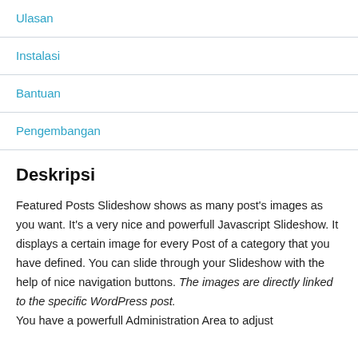Ulasan
Instalasi
Bantuan
Pengembangan
Deskripsi
Featured Posts Slideshow shows as many post's images as you want. It's a very nice and powerfull Javascript Slideshow. It displays a certain image for every Post of a category that you have defined. You can slide through your Slideshow with the help of nice navigation buttons. The images are directly linked to the specific WordPress post. You have a powerfull Administration Area to adjust